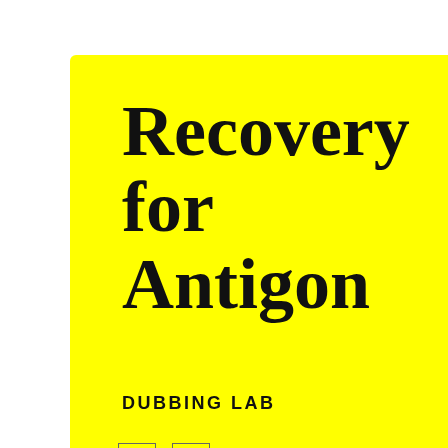Recovery for Antigon
DUBBING LAB
all of it. Th Group bas and founde I'm kind o market in M
From wiki »Ghost G on develop Founded i
From Ghos »Ghost G sector. Gh marijuana been activ
Founders: More info: